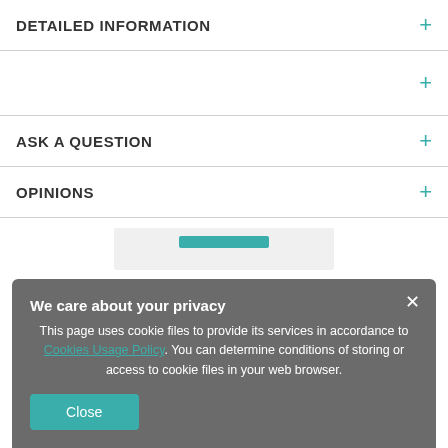DETAILED INFORMATION
ASK A QUESTION
OPINIONS
We care about your privacy
This page uses cookie files to provide its services in accordance to Cookies Usage Policy. You can determine conditions of storing or access to cookie files in your web browser.
Close